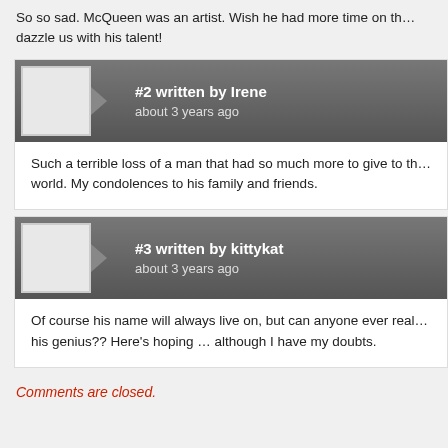So so sad. McQueen was an artist. Wish he had more time on this earth to dazzle us with his talent!
#2 written by Irene
about 3 years ago
Such a terrible loss of a man that had so much more to give to the world. My condolences to his family and friends.
#3 written by kittykat
about 3 years ago
Of course his name will always live on, but can anyone ever really replace his genius?? Here's hoping … although I have my doubts.
Comments are closed.